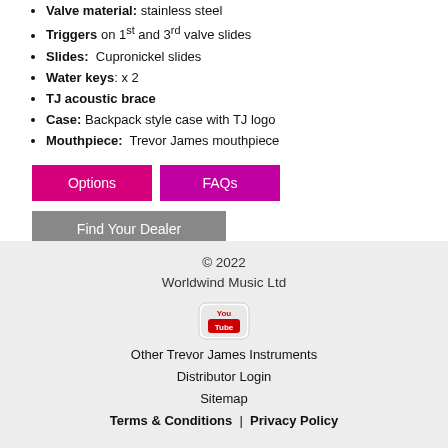Valve material: stainless steel
Triggers on 1st and 3rd valve slides
Slides: Cupronickel slides
Water keys: x 2
TJ acoustic brace
Case: Backpack style case with TJ logo
Mouthpiece: Trevor James mouthpiece
Options | FAQs
Find Your Dealer
© 2022 Worldwind Music Ltd
[Figure (logo): YouTube logo icon]
Other Trevor James Instruments
Distributor Login
Sitemap
Terms & Conditions | Privacy Policy